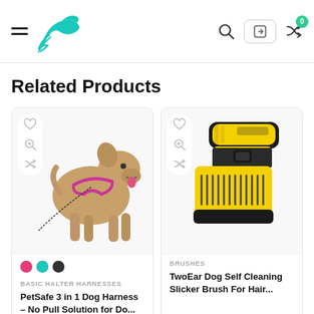Navigation header with hamburger menu, bird logo, search icon, login button, and cart (0)
Related Products
[Figure (photo): Product card: Dog wearing a purple/pink halter harness, standing pose. With color swatches (pink, teal, dark). Category: BASIC HALTER HARNESSES. Product: PetSafe 3 in 1 Dog Harness – No Pull Solution for Do...]
[Figure (photo): Product card: Yellow and black dog slicker brush (TwoEar Self Cleaning Slicker Brush). Category: BRUSHES. Product: TwoEar Dog Self Cleaning Slicker Brush For Hair...]